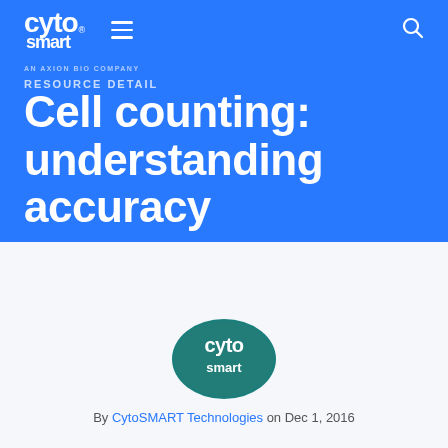CytoSMART - AN AXION BIO COMPANY
RESOURCE DETAIL
Cell counting: understanding accuracy
[Figure (logo): CytoSmart logo centered on white background]
By CytoSMART Technologies on Dec 1, 2016